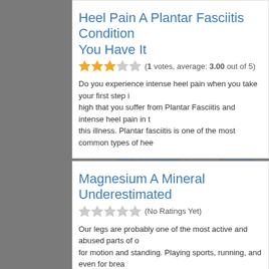Heel Pain A Plantar Fasciitis Condition You Have It
(1 votes, average: 3.00 out of 5)
Do you experience intense heel pain when you take your first step i... high that you suffer from Plantar Fasciitis and intense heel pain in t... this illness. Plantar fasciitis is one of the most common types of hee...
POSTED IN HEALTH FITNESS | TAGGED FASCIITIS, FOOT,
Magnesium A Mineral Underestimated
(No Ratings Yet)
Our legs are probably one of the most active and abused parts of o... for motion and standing. Playing sports, running, and even for brea... to pain as they, in combination with the hips, knees, ankles and fee...
POSTED IN HEALTH FITNESS | TAGGED BODY, DIET, LEG, MA...